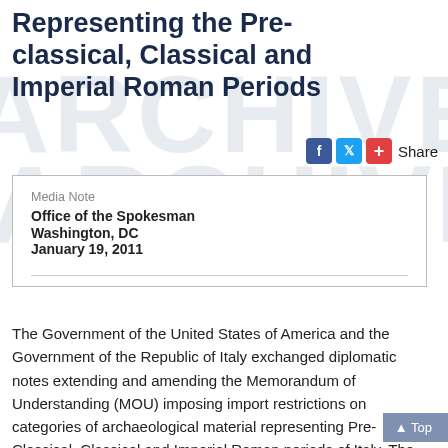Representing the Pre-classical, Classical and Imperial Roman Periods
Media Note
Office of the Spokesman
Washington, DC
January 19, 2011
The Government of the United States of America and the Government of the Republic of Italy exchanged diplomatic notes extending and amending the Memorandum of Understanding (MOU) imposing import restrictions on categories of archaeological material representing Pre-Classical, Classical and Imperial Roman periods of Italy. The MOU, which first entered into force January 19, 2001, was extended for an additional five-year period until 2016.